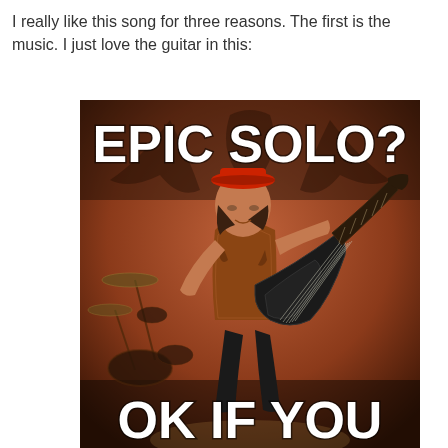I really like this song for three reasons. The first is the music. I just love the guitar in this:
[Figure (photo): A meme image showing a guitarist on stage playing an electric guitar, wearing a red hat and patterned sleeveless shirt, with drum kit visible in background. Red/brown warm lighting. Top text reads 'EPIC SOLO?' in large white bold letters. Bottom text reads 'OK IF YOU' in large white bold letters. The background has what appears to be a bat-wing logo.]